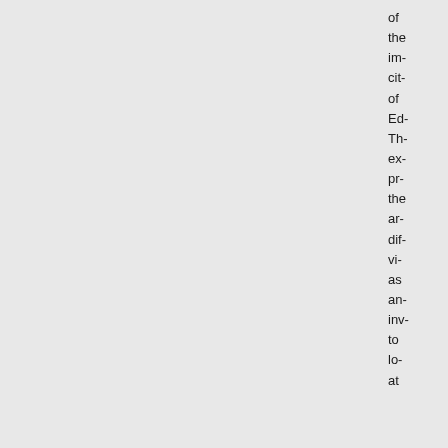of the im- cit- of Ed- Th- ex- pr- the ar- dif- vi- as an- inv- to lo- at